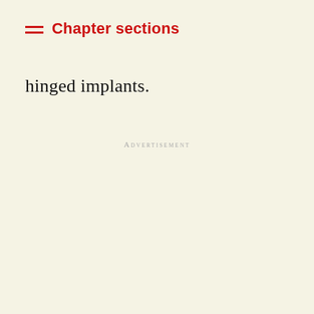Chapter sections
hinged implants.
Advertisement